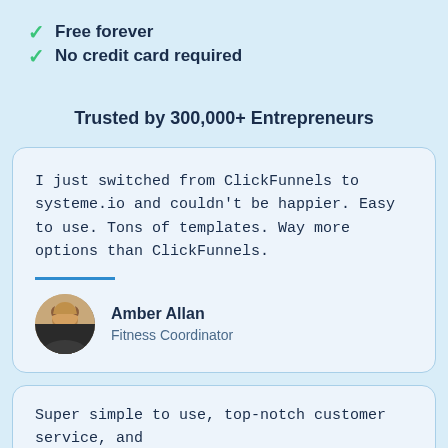Free forever
No credit card required
Trusted by 300,000+ Entrepreneurs
I just switched from ClickFunnels to systeme.io and couldn't be happier. Easy to use. Tons of templates. Way more options than ClickFunnels.
Amber Allan
Fitness Coordinator
Super simple to use, top-notch customer service, and